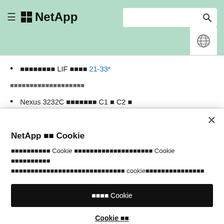NetApp
⬛⬛⬛⬛⬛⬛⬛⬛ LIF ⬛⬛⬛⬛ 21-33*
⬛⬛⬛⬛⬛⬛⬛⬛⬛⬛⬛⬛⬛⬛⬛⬛⬛⬛⬛
Nexus 3232C ⬛⬛⬛⬛⬛⬛⬛ C1 ⬛ C2 ⬛
NetApp ⬛⬛ Cookie
⬛⬛⬛⬛⬛⬛⬛⬛⬛⬛ Cookie ⬛⬛⬛⬛⬛⬛⬛⬛⬛⬛⬛⬛⬛⬛⬛⬛⬛⬛⬛⬛ Cookie ⬛⬛⬛⬛⬛⬛⬛⬛⬛⬛ ⬛⬛⬛⬛⬛⬛⬛⬛⬛⬛⬛⬛⬛⬛⬛⬛⬛⬛⬛⬛⬛⬛⬛⬛⬛⬛⬛⬛⬛ cookie⬛⬛⬛⬛⬛⬛⬛⬛⬛⬛⬛⬛⬛⬛⬛
⬛⬛⬛⬛ Cookie
Cookie ⬛⬛